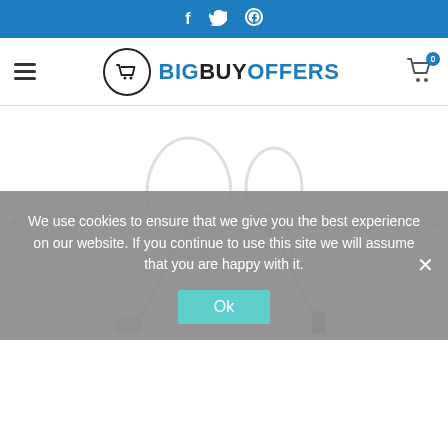Social icons: f (Facebook), Twitter bird, Pinterest
[Figure (logo): BigBuyOffers logo with shopping cart icon in circle and text BIGBUYOFFERS in blue and black, hamburger menu on left, cart icon with badge '0' on right]
[Figure (photo): White Google Pixel USB-C earbuds/earphones with ear loops shown on white background, carousel product image with left and right navigation arrows]
We use cookies to ensure that we give you the best experience on our website. If you continue to use this site we will assume that you are happy with it.
Ok